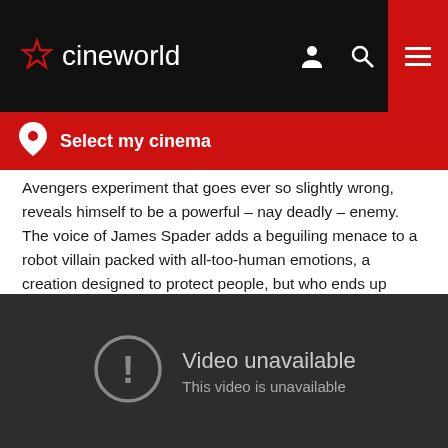cineworld
Select my cinema
Avengers experiment that goes ever so slightly wrong, reveals himself to be a powerful – nay deadly – enemy. The voice of James Spader adds a beguiling menace to a robot villain packed with all-too-human emotions, a creation designed to protect people, but who ends up seeing them as inconvenient and disposable.
[Figure (screenshot): Video unavailable placeholder showing a circle with exclamation mark icon, text 'Video unavailable' and 'This video is unavailable' on a dark grey background]